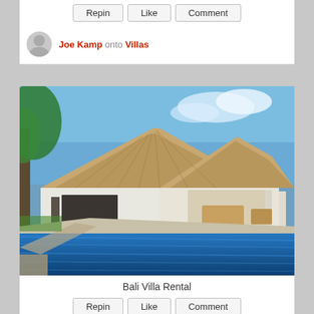Repin | Like | Comment
Joe Kamp onto Villas
[Figure (photo): Bali villa with thatched roof pavilions and a blue swimming pool, surrounded by tropical plants and a courtyard]
Bali Villa Rental
Repin | Like | Comment
joerg onto Villas